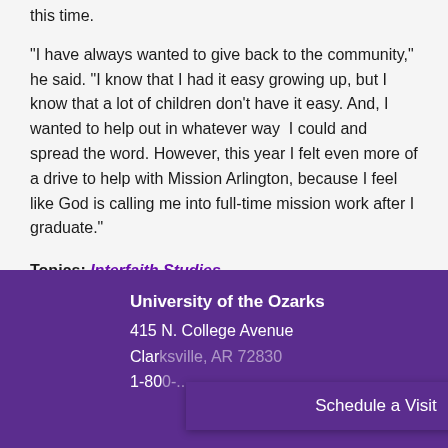this time.
"I have always wanted to give back to the community," he said. "I know that I had it easy growing up, but I know that a lot of children don't have it easy. And, I wanted to help out in whatever way  I could and spread the word. However, this year I felt even more of a drive to help with Mission Arlington, because I feel like God is calling me into full-time mission work after I graduate."
Topics: Interfaith Studies
University of the Ozarks
415 N. College Avenue
Clarksville, AR 72830
1-800-...